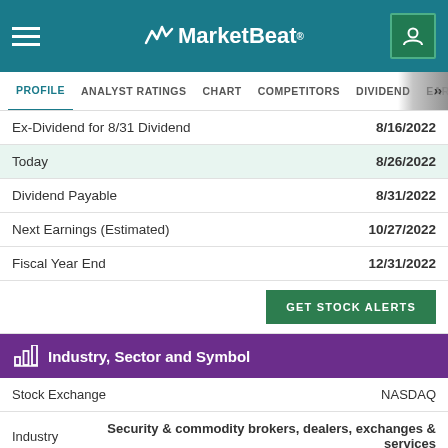MarketBeat
PROFILE  ANALYST RATINGS  CHART  COMPETITORS  DIVIDEND  EARNINGS
|  |  |
| --- | --- |
| Ex-Dividend for 8/31 Dividend | 8/16/2022 |
| Today | 8/26/2022 |
| Dividend Payable | 8/31/2022 |
| Next Earnings (Estimated) | 10/27/2022 |
| Fiscal Year End | 12/31/2022 |
GET STOCK ALERTS
Industry, Sector and Symbol
|  |  |
| --- | --- |
| Stock Exchange | NASDAQ |
| Industry | Security & commodity brokers, dealers, exchanges & services |
| Sub-Industry | Investment Banking & Brokerage |
| Sector | Finance |
| Current Symbol | NASDAQ:LPLA |
| CUSIP | 50212V10 |